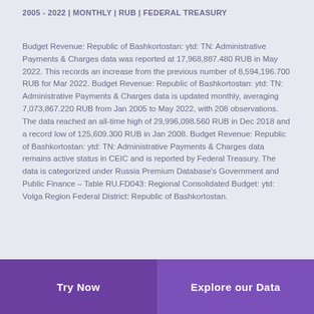2005 - 2022 | MONTHLY | RUB | FEDERAL TREASURY
Budget Revenue: Republic of Bashkortostan: ytd: TN: Administrative Payments & Charges data was reported at 17,968,887.480 RUB in May 2022. This records an increase from the previous number of 8,594,196.700 RUB for Mar 2022. Budget Revenue: Republic of Bashkortostan: ytd: TN: Administrative Payments & Charges data is updated monthly, averaging 7,073,867.220 RUB from Jan 2005 to May 2022, with 208 observations. The data reached an all-time high of 29,996,098.560 RUB in Dec 2018 and a record low of 125,609.300 RUB in Jan 2008. Budget Revenue: Republic of Bashkortostan: ytd: TN: Administrative Payments & Charges data remains active status in CEIC and is reported by Federal Treasury. The data is categorized under Russia Premium Database's Government and Public Finance – Table RU.FD043: Regional Consolidated Budget: ytd: Volga Region Federal District: Republic of Bashkortostan.
Try Now | Explore our Data